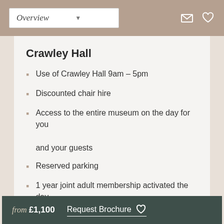Overview
Crawley Hall
Use of Crawley Hall 9am – 5pm
Discounted chair hire
Access to the entire museum on the day for you and your guests
Reserved parking
1 year joint adult membership activated the day after your wedding to celebrate your 1 year anniversary
A dedicated Wedding Coordinator as your point of
from £1,100   Request Brochure